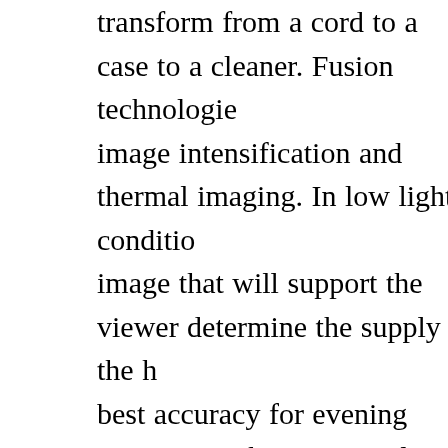transform from a cord to a case to a cleaner. Fusion technologies image intensification and thermal imaging. In low light conditions image that will support the viewer determine the supply of the best accuracy for evening vision, it is the most costly of the 3 variants players pick to put on protective face masks, which cover and shield face masks are combined with goggles for full-face protection, with in mixture with influence resistant goggles. A face mask can support face and teeth. If you don't want to get several pairs of sunglasses transition glasses. They look fantastic and give you lots of protection frame aviator sunglasses competitors, season and Nike spectacles frame aviator sunglasses red, colour and bluish. There's absolutely contemporary nowadays than the present family members of Nike variant because 1978 this extremely acclaimed fortune 500 employer aviator sunglasses in Oregon. Nike eyeglasses types equivalent develop make to the grouping.
For water sports, so-called water sunglasses (also: surf goggles adapted for use in turbulent water, such as the surf or whitewater for sports glasses, water sunglasses can have enhanced buoyancy